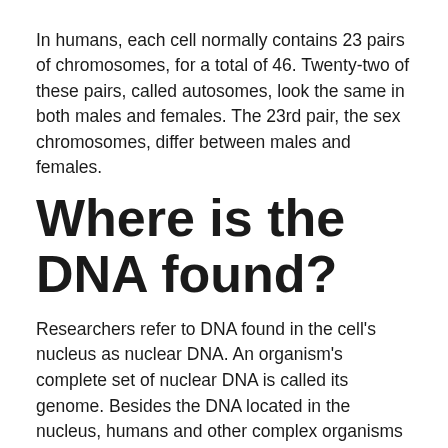In humans, each cell normally contains 23 pairs of chromosomes, for a total of 46. Twenty-two of these pairs, called autosomes, look the same in both males and females. The 23rd pair, the sex chromosomes, differ between males and females.
Where is the DNA found?
Researchers refer to DNA found in the cell's nucleus as nuclear DNA. An organism's complete set of nuclear DNA is called its genome. Besides the DNA located in the nucleus, humans and other complex organisms also have a small amount of DNA in cell structures known as mitochondria.